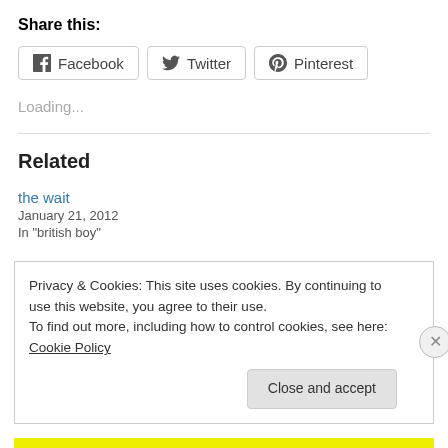Share this:
Facebook  Twitter  Pinterest
Loading...
Related
the wait
January 21, 2012
In "british boy"
Privacy & Cookies: This site uses cookies. By continuing to use this website, you agree to their use.
To find out more, including how to control cookies, see here: Cookie Policy
Close and accept